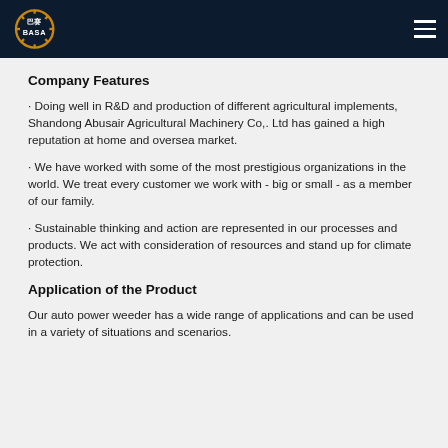BASA logo and navigation
Company Features
· Doing well in R&D and production of different agricultural implements, Shandong Abusair Agricultural Machinery Co,. Ltd has gained a high reputation at home and oversea market.
· We have worked with some of the most prestigious organizations in the world. We treat every customer we work with - big or small - as a member of our family.
· Sustainable thinking and action are represented in our processes and products. We act with consideration of resources and stand up for climate protection.
Application of the Product
Our auto power weeder has a wide range of applications and can be used in a variety of situations and scenarios.